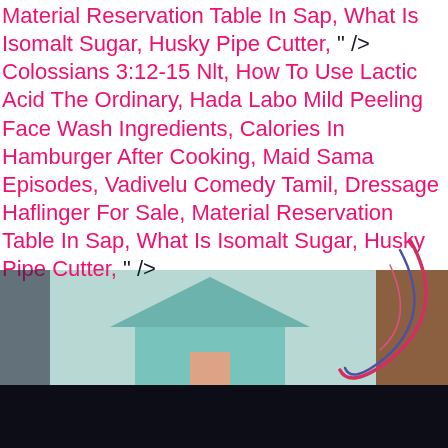Material Reservation Table In Sap, What Is Isomalt Sugar, Husky Pipe Cutter, " /> Colossians 3:12-15 Nlt, How To Use Lactic Acid The Ordinary, Hada Labo Mild Peeling Face Wash Ingredients, Calories In Hamburger After Cooking, Maid Sama Episodes, Vadivelu Comedy Tamil, Dressage Haflinger For Sale, Material Reservation Table In Sap, What Is Isomalt Sugar, Husky Pipe Cutter, " />
[Figure (photo): A scene showing a teal/mint colored background with a house-like shape, a brown panel on the right, a dark left edge with a figure, and a decorative swirl overlay in red and purple/blue. The lower portion of the page has a dark near-black bar.]